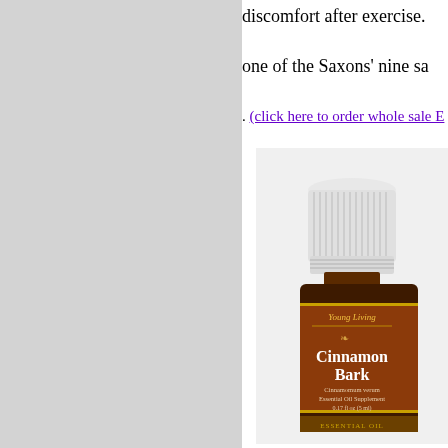discomfort after exercise.
one of the Saxons' nine sa
. (click here to order whole sale E
[Figure (photo): Young Living Cinnamon Bark Essential Oil Supplement bottle, 0.17 fl oz (5 ml), with white ribbed cap and brown label showing 'Cinnamon Bark Cinnamomum verum Essential Oil Supplement']